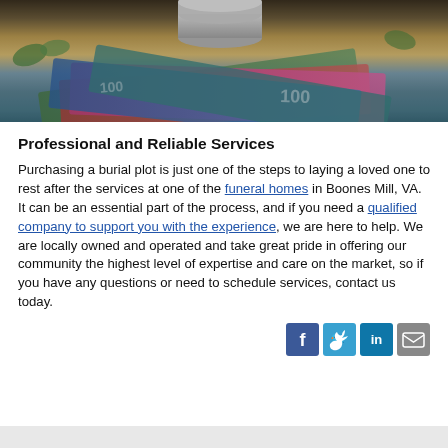[Figure (photo): Close-up photograph of stacked coins on top of colorful paper currency bills, with a blurred background.]
Professional and Reliable Services
Purchasing a burial plot is just one of the steps to laying a loved one to rest after the services at one of the funeral homes in Boones Mill, VA. It can be an essential part of the process, and if you need a qualified company to support you with the experience, we are here to help. We are locally owned and operated and take great pride in offering our community the highest level of expertise and care on the market, so if you have any questions or need to schedule services, contact us today.
[Figure (infographic): Social sharing icons: Facebook (blue), Twitter (teal/blue), LinkedIn (teal), and Email (gray).]